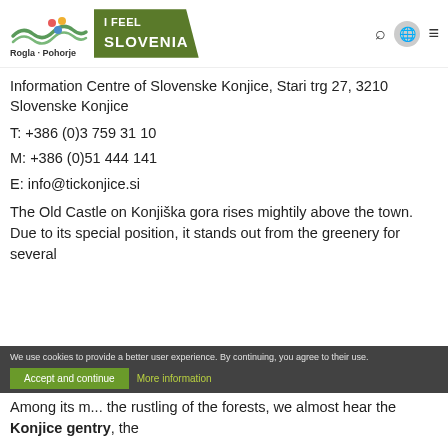[Figure (logo): Rogla-Pohorje logo with wavy lines and colored dots, and I Feel Slovenia green banner logo]
Information Centre of Slovenske Konjice, Stari trg 27, 3210 Slovenske Konjice
T: +386 (0)3 759 31 10
M: +386 (0)51 444 141
E: info@tickonjice.si
The Old Castle on Konjiška gora rises mightily above the town. Due to its special position, it stands out from the greenery for several
We use cookies to provide a better user experience. By continuing, you agree to their use.
Among its m... the rustling of the forests, we almost hear the Konjice gentry, the